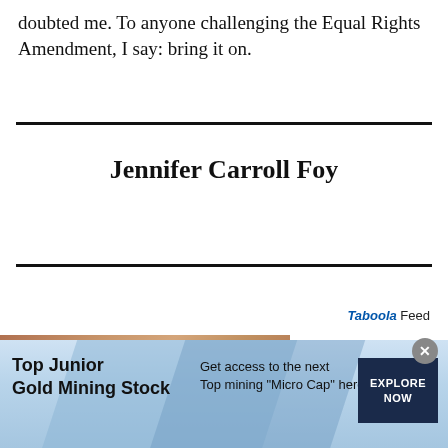doubted me. To anyone challenging the Equal Rights Amendment, I say: bring it on.
Jennifer Carroll Foy
[Figure (screenshot): Taboola Feed label with 'Tab' in italic blue and 'oola Feed' text, followed by a partially visible image strip]
[Figure (screenshot): Advertisement banner: Top Junior Gold Mining Stock - Get access to the next Top mining 'Micro Cap' here! - EXPLORE NOW button, with blue diagonal wave design and close button]